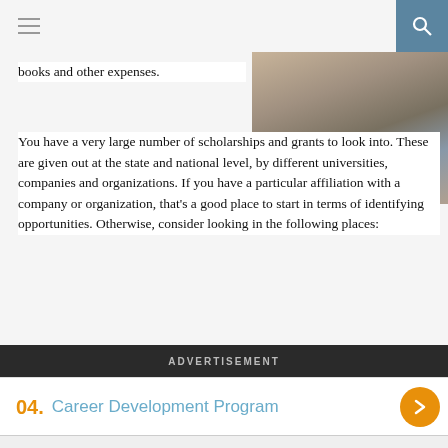books and other expenses.
[Figure (photo): Person holding their stomach/midsection, wearing a white t-shirt and jeans, standing outdoors]
You have a very large number of scholarships and grants to look into. These are given out at the state and national level, by different universities, companies and organizations. If you have a particular affiliation with a company or organization, that's a good place to start in terms of identifying opportunities. Otherwise, consider looking in the following places:
ADVERTISEMENT
04. Career Development Program